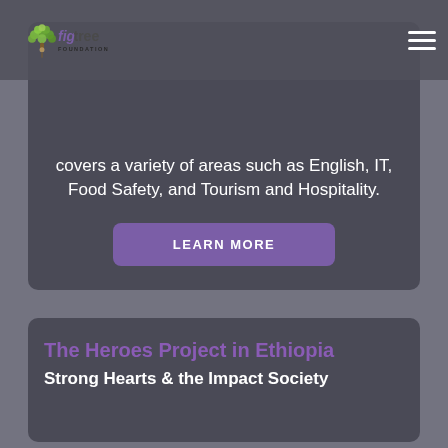[Figure (screenshot): Fig Tree Foundation logo with tree icon and text]
covers a variety of areas such as English, IT, Food Safety, and Tourism and Hospitality.
LEARN MORE
The Heroes Project in Ethiopia
Strong Hearts & the Impact Society